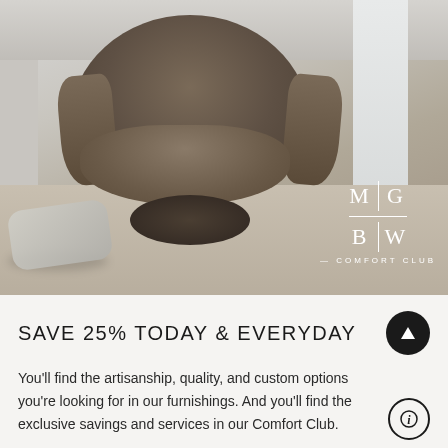[Figure (photo): A round barrel-style accent chair upholstered in brown textured fabric, positioned on a light wood floor in a minimal modern room. Two grey floor cushions are visible in the lower left. The MGBW Comfort Club logo is overlaid in white in the lower right of the image.]
SAVE 25% TODAY & EVERYDAY
You'll find the artisanship, quality, and custom options you're looking for in our furnishings. And you'll find the exclusive savings and services in our Comfort Club.